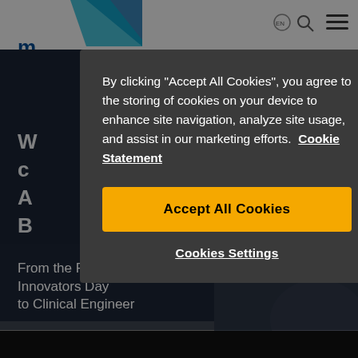[Figure (screenshot): Website screenshot background showing navigation bar with logo, hamburger menu, and a dark blue banner with partially visible white text heading and a photo of a person wearing glasses. Text partially visible: 'W', 'c', 'A', 'B' and at bottom 'From the Future Innovators Day to Clinical Engineer'.]
By clicking "Accept All Cookies", you agree to the storing of cookies on your device to enhance site navigation, analyze site usage, and assist in our marketing efforts. Cookie Statement
Accept All Cookies
Cookies Settings